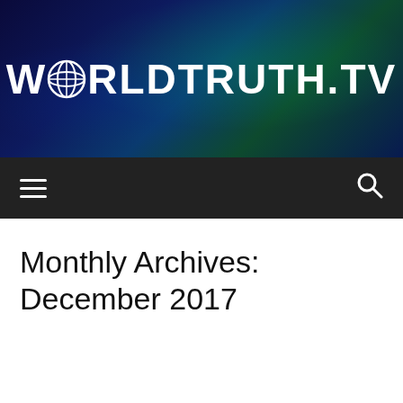[Figure (logo): WorldTruth.TV website header banner with dark blue/teal starry night sky background and white bold logo text reading WORLDTRUTH.TV with a globe icon replacing the O in WORLD]
WORLDTRUTH.TV navigation bar with hamburger menu icon and search icon
Monthly Archives: December 2017
McDonald's Begins Closing Restaurants Across U.S. As Clean Food Movement Sweeps America